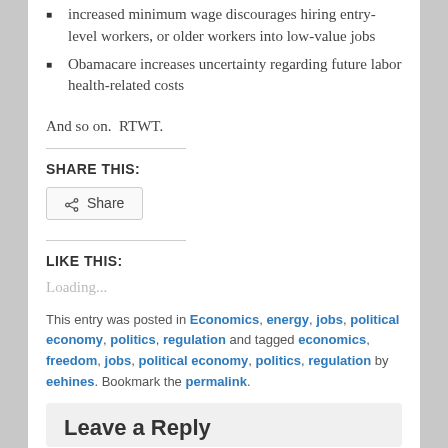increased minimum wage discourages hiring entry-level workers, or older workers into low-value jobs
Obamacare increases uncertainty regarding future labor health-related costs
And so on.  RTWT.
SHARE THIS:
Share (button)
LIKE THIS:
Loading...
This entry was posted in Economics, energy, jobs, political economy, politics, regulation and tagged economics, freedom, jobs, political economy, politics, regulation by eehines. Bookmark the permalink.
Leave a Reply